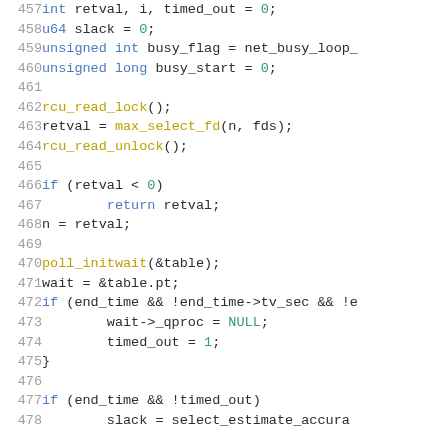Source code listing lines 457-478, C programming language kernel code showing variable declarations, rcu_read_lock/unlock calls, conditional checks, poll_initwait, and wait queue setup.